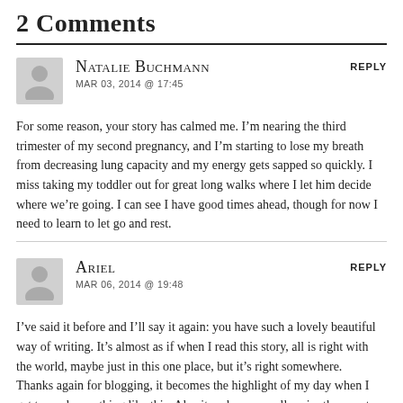2 Comments
Natalie Buchmann
MAR 03, 2014 @ 17:45
REPLY
For some reason, your story has calmed me. I’m nearing the third trimester of my second pregnancy, and I’m starting to lose my breath from decreasing lung capacity and my energy gets sapped so quickly. I miss taking my toddler out for great long walks where I let him decide where we’re going. I can see I have good times ahead, though for now I need to learn to let go and rest.
Ariel
MAR 06, 2014 @ 19:48
REPLY
I’ve said it before and I’ll say it again: you have such a lovely beautiful way of writing. It’s almost as if when I read this story, all is right with the world, maybe just in this one place, but it’s right somewhere.
Thanks again for blogging, it becomes the highlight of my day when I get to read something like this. Also it makes me really miss the country.